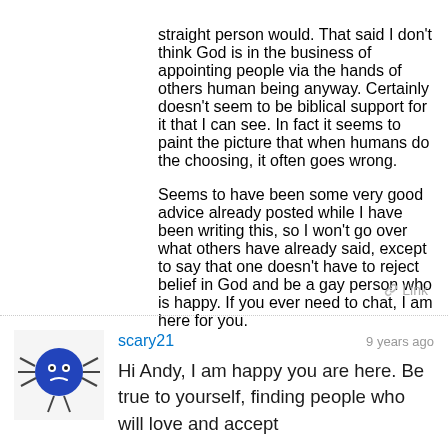straight person would. That said I don't think God is in the business of appointing people via the hands of others human being anyway. Certainly doesn't seem to be biblical support for it that I can see. In fact it seems to paint the picture that when humans do the choosing, it often goes wrong.

Seems to have been some very good advice already posted while I have been writing this, so I won't go over what others have already said, except to say that one doesn't have to reject belief in God and be a gay person who is happy. If you ever need to chat, I am here for you.
[Figure (illustration): Avatar icon of a blue round spider character with legs and a frowning face on white background]
scary21
9 years ago
Hi Andy, I am happy you are here. Be true to yourself, finding people who will love and accept